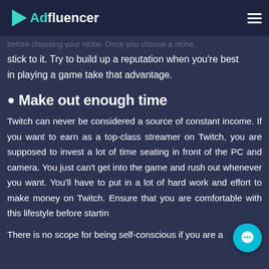Adfluencer
you can play better than the rest. There are many aspects top and you should consider all of them before choosing your niche. Once you choose a niche,
stick to it. Try to build up a reputation when you're best in playing a game take that advantage.
Make out enough time
Twitch can never be considered a source of constant income. If you want to earn as a top-class streamer on Twitch, you are supposed to invest a lot of time seating in front of the PC and camera. You just can't get into the game and rush out whenever you want. You'll have to put in a lot of hard work and effort to make money on Twitch. Ensure that you are comfortable with this lifestyle before starting.
There is no scope for being self-conscious if you are a